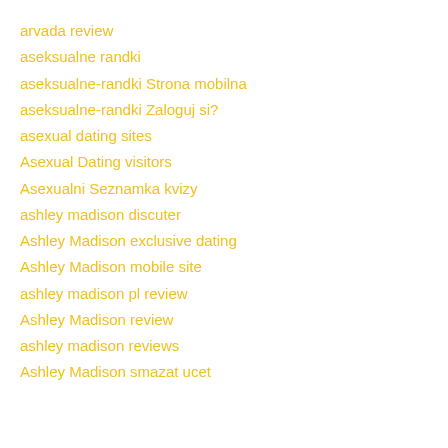arvada review
aseksualne randki
aseksualne-randki Strona mobilna
aseksualne-randki Zaloguj si?
asexual dating sites
Asexual Dating visitors
Asexualni Seznamka kvizy
ashley madison discuter
Ashley Madison exclusive dating
Ashley Madison mobile site
ashley madison pl review
Ashley Madison review
ashley madison reviews
Ashley Madison smazat ucet